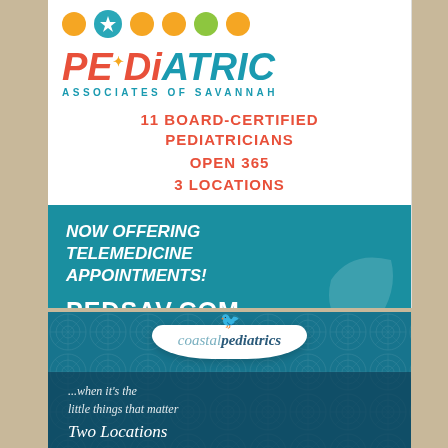[Figure (illustration): Advertisement for Pediatric Associates of Savannah. Features colorful dots/circles in orange, teal, green at top, logo with 'PEDIATRIC ASSOCIATES OF SAVANNAH', claims '11 BOARD-CERTIFIED PEDIATRICIANS, OPEN 365, 3 LOCATIONS', teal lower section saying 'NOW OFFERING TELEMEDICINE APPOINTMENTS! PEDSAV.COM']
[Figure (illustration): Advertisement for Coastal Pediatrics with decorative teal background pattern, logo badge reading 'coastal pediatrics', tagline '...when it's the little things that matter', and 'Two Locations']